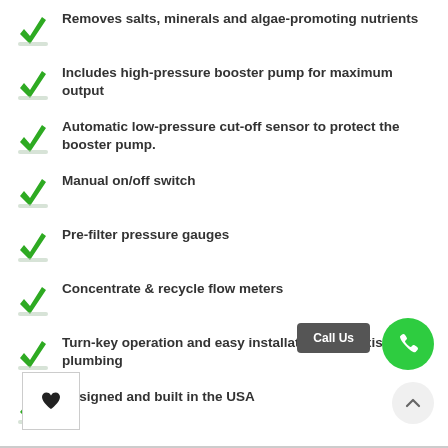Removes salts, minerals and algae-promoting nutrients
Includes high-pressure booster pump for maximum output
Automatic low-pressure cut-off sensor to protect the booster pump.
Manual on/off switch
Pre-filter pressure gauges
Concentrate & recycle flow meters
Turn-key operation and easy installation onto existing plumbing
Designed and built in the USA